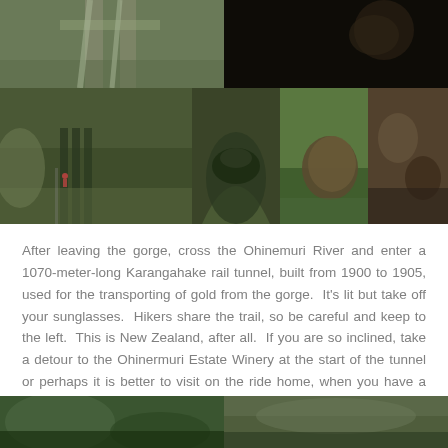[Figure (photo): Grid of 6 photos showing Karangahake Gorge area: railway tracks, dark cave/tunnel, gorge with walkway, tunnel entrance arch, large iron ball/boiler in grass, rocky mossy surface]
After leaving the gorge, cross the Ohinemuri River and enter a 1070-meter-long Karangahake rail tunnel, built from 1900 to 1905, used for the transporting of gold from the gorge.  It's lit but take off your sunglasses.  Hikers share the trail, so be careful and keep to the left.  This is New Zealand, after all.  If you are so inclined, take a detour to the Ohinermuri Estate Winery at the start of the tunnel or perhaps it is better to visit on the ride home, when you have a few more kilometers under your belt.
[Figure (photo): Two photos at the bottom showing green forested/trailhead scenes]